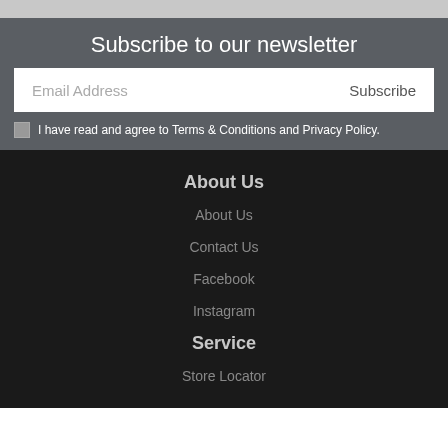Subscribe to our newsletter
Email Address
Subscribe
I have read and agree to Terms & Conditions and Privacy Policy.
About Us
About Us
Contact Us
Facebook
Instagram
Service
Store Locator